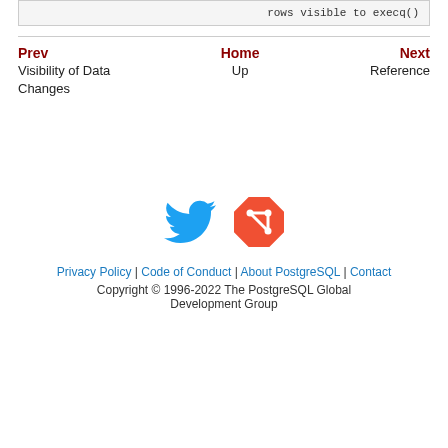rows visible to execq()
Prev | Home | Next
Visibility of Data Changes | Up | Reference
[Figure (illustration): Twitter bird icon (blue) and Git logo icon (red/orange diamond shape)]
Privacy Policy | Code of Conduct | About PostgreSQL | Contact
Copyright © 1996-2022 The PostgreSQL Global Development Group